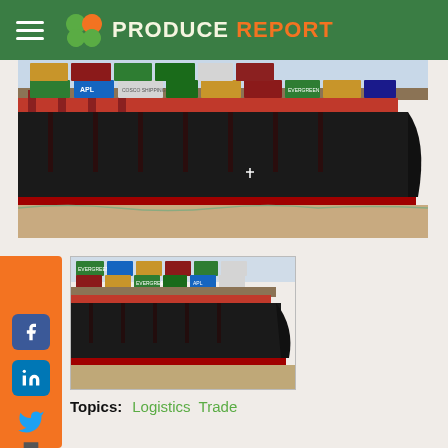PRODUCE REPORT
[Figure (photo): Large container cargo ship with stacked colorful shipping containers (APL, Evergreen, Cosco) sailing in water, viewed from the side/front angle]
[Figure (photo): Smaller thumbnail image of a container cargo ship with stacked colorful shipping containers, sailing in water]
Topics:  Logistics  Trade